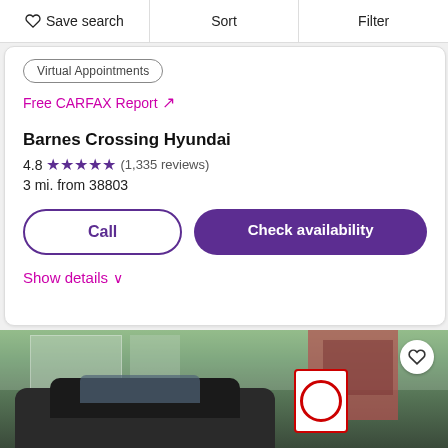Save search  Sort  Filter
Virtual Appointments
Free CARFAX Report ↗
Barnes Crossing Hyundai
4.8 ★★★★★ (1,335 reviews)
3 mi. from 38803
Call
Check availability
Show details ∨
[Figure (photo): Exterior photo of a car dealership with a dark SUV in foreground and dealership building with glass facade in background]